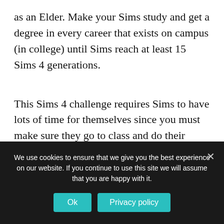as an Elder. Make your Sims study and get a degree in every career that exists on campus (in college) until Sims reach at least 15 Sims 4 generations.
This Sims 4 challenge requires Sims to have lots of time for themselves since you must make sure they go to class and do their homework every day! Even if it's Sunday or your Sims just finished getting married the previous night, you still must
We use cookies to ensure that we give you the best experience on our website. If you continue to use this site we will assume that you are happy with it.